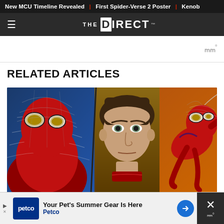New MCU Timeline Revealed | First Spider-Verse 2 Poster | Kenob
[Figure (logo): The Direct logo - navigation bar with hamburger menu and THE DIRECT wordmark in white on dark background]
[Figure (other): Weather/ad icon showing stylized W with degree symbol]
RELATED ARTICLES
[Figure (photo): Composite image showing Spider-Man in red suit on left, Tobey Maguire as Peter Parker in center, and Spider-Man swinging on right against orange/blue background]
[Figure (other): Petco advertisement banner: Your Pet's Summer Gear Is Here - Petco]